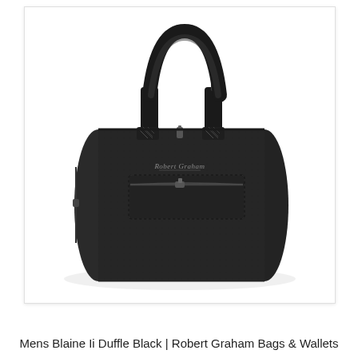[Figure (photo): A black Robert Graham duffle bag (Mens Blaine II Duffle) photographed on a white background. The bag is cylindrical/barrel-shaped, made of dark textured leather-like material, with two top handles connected by adjustable straps, a front zip pocket, and a silver 'Robert Graham' script logo on the front. The bag sits against a white background inside a light-bordered card container.]
Mens Blaine Ii Duffle Black | Robert Graham Bags & Wallets